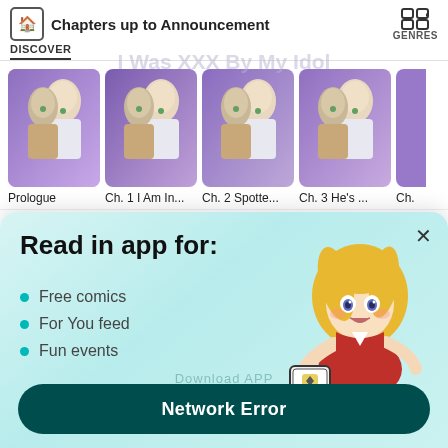Chapters up to Announcement
I Was XXX By My Idol (watermark)
DISCOVER
GENRES
[Figure (screenshot): Four manga chapter thumbnails showing an anime couple (light-haired male and female characters). Labels: Prologue, Ch. 1 I Am In..., Ch. 2 Spotte..., Ch. 3 He's ..., Ch.]
Prologue
Ch. 1 I Am In...
Ch. 2 Spotte...
Ch. 3 He's ...
Ch.
Comments(414267)
Read in app for:
Free comics
For You feed
Fun events
[Figure (illustration): Anime character (blonde girl) holding a phone with app icon]
Network Error